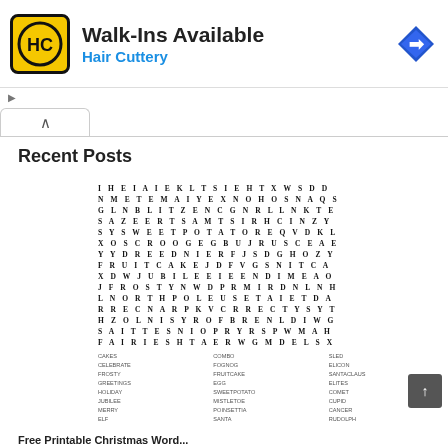[Figure (illustration): Hair Cuttery advertisement banner with logo, 'Walk-Ins Available' text, and blue 'Hair Cuttery' subtitle, plus a blue navigation arrow icon on the right]
Recent Posts
[Figure (other): Christmas word search puzzle grid with 15 rows and 20 columns of letters, followed by a word list below in three columns including words like CAKES, CELEBRATE, FROSTY, GREETINGS, HOLIDAY, JUBILEE, MERRY, ELF, COMBO, FOGNOG, FRUITCAKE, EGG, SWEETPOTATO, MISTLETOE, POINSETTIA, SANTA, SLED, ELICON, SANTACLAUS, ELITES, COMET, CUPID, CANCER, RUDOLPH]
Free Printable Christmas Word...